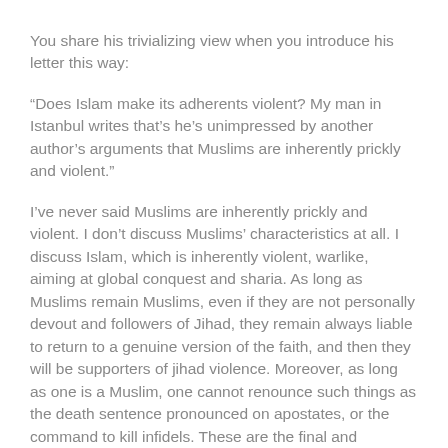You share his trivializing view when you introduce his letter this way:
“Does Islam make its adherents violent? My man in Istanbul writes that’s he’s unimpressed by another author’s arguments that Muslims are inherently prickly and violent.”
I’ve never said Muslims are inherently prickly and violent. I don’t discuss Muslims’ characteristics at all. I discuss Islam, which is inherently violent, warlike, aiming at global conquest and sharia. As long as Muslims remain Muslims, even if they are not personally devout and followers of Jihad, they remain always liable to return to a genuine version of the faith, and then they will be supporters of jihad violence. Moreover, as long as one is a Muslim, one cannot renounce such things as the death sentence pronounced on apostates, or the command to kill infidels. These are the final and absolute command of Allah. Your correspondent says that he and his family are not personally violent. But the point is that they cannot